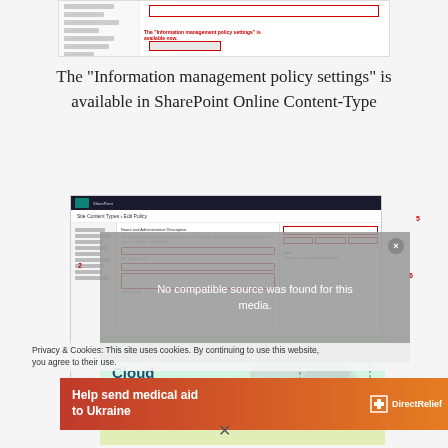[Figure (screenshot): A screenshot of a SharePoint-like settings page showing 'Information management policy settings is available now' callout with red highlighted input fields]
The “Information management policy settings” is available in SharePoint Online Content-Type
[Figure (screenshot): Screenshot of SharePoint Online 'Site Content Types > Edit Policy' page with numbered steps highlighted in red, overlaid with a gray video player showing 'No compatible source was found for this media', a cloud computing thumbnail, privacy cookie notice, and Direct Relief advertisement banner]
No compatible source was found for this media.
Privacy & Cookies: This site uses cookies. By continuing to use this website, you agree to their use.
Help send medical aid to Ukraine